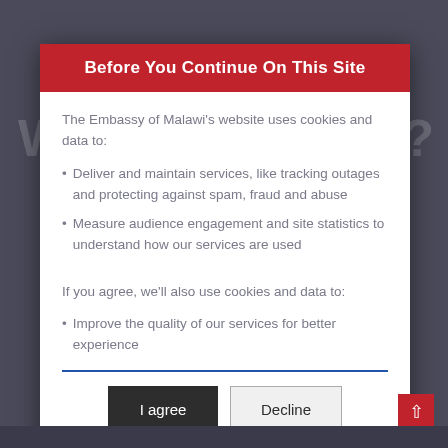Before You Continue On This Site
The Embassy of Malawi's website uses cookies and data to:
Deliver and maintain services, like tracking outages and protecting against spam, fraud and abuse
Measure audience engagement and site statistics to understand how our services are used
If you agree, we'll also use cookies and data to:
Improve the quality of our services for better experience